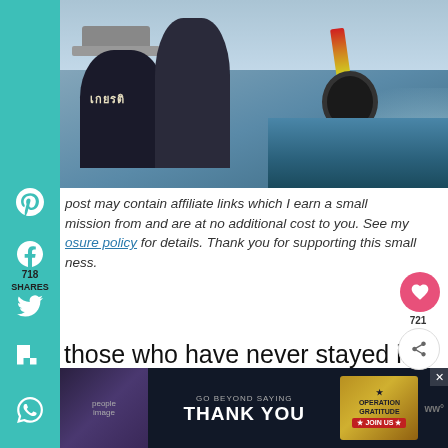[Figure (photo): Photo of people on a boat/tuk-tuk style vehicle with Thai text on a vest, colorful straps, tire visible, water wake in background]
post may contain affiliate links which I earn a small mission from and are at no additional cost to you. See my osure policy for details. Thank you for supporting this small ness.
those who have never stayed in a hostel ore it might seem a little bit daunting. What are the rooms actually like? Will I meet frien quickly? Will the bathrooms be dirty? The truth is that you can know this stuff in
[Figure (infographic): Advertisement banner: GO BEYOND SAYING THANK YOU - Operation Gratitude JOIN US]